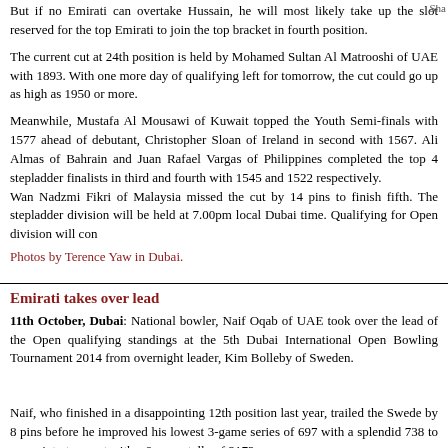But if no Emirati can overtake Hussain, he will most likely take up the slot reserved for the top Emirati to join the top bracket in fourth position.
The current cut at 24th position is held by Mohamed Sultan Al Matrooshi of UAE with 1893. With one more day of qualifying left for tomorrow, the cut could go up as high as 1950 or more.
Meanwhile, Mustafa Al Mousawi of Kuwait topped the Youth Semi-finals with 1577 ahead of debutant, Christopher Sloan of Ireland in second with 1567. Ali Almas of Bahrain and Juan Rafael Vargas of Philippines completed the top 4 stepladder finalists in third and fourth with 1545 and 1522 respectively.
Wan Nadzmi Fikri of Malaysia missed the cut by 14 pins to finish fifth. The stepladder division will be held at 7.00pm local Dubai time. Qualifying for Open division will con
Photos by Terence Yaw in Dubai.
Emirati takes over lead
11th October, Dubai: National bowler, Naif Oqab of UAE took over the lead of the Open qualifying standings at the 5th Dubai International Open Bowling Tournament 2014 from overnight leader, Kim Bolleby of Sweden.
Naif, who finished in a disappointing 12th position last year, trailed the Swede by 8 pins before he improved his lowest 3-game series of 697 with a splendid 738 to move into top spot with a 9-game tally of 2172.
The Emirati left-hander did not qualify in 2012 and crashed out in 2011 during the Round 2 finals. But his best showing was finishing as first runner-up in 2010 and with a promising qualifying round displayed so far, put him a firm title contender.